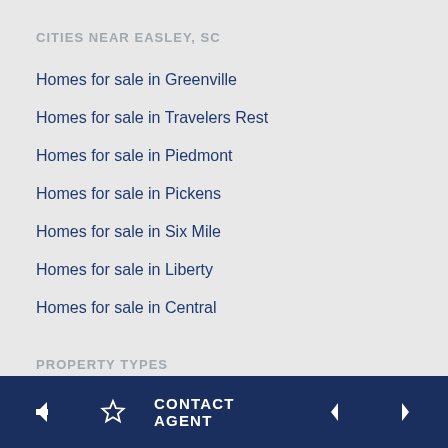CITIES NEAR EASLEY, SC
Homes for sale in Greenville
Homes for sale in Travelers Rest
Homes for sale in Piedmont
Homes for sale in Pickens
Homes for sale in Six Mile
Homes for sale in Liberty
Homes for sale in Central
PROPERTY TYPES
Easley Single Family Homes for Sale
CONTACT AGENT